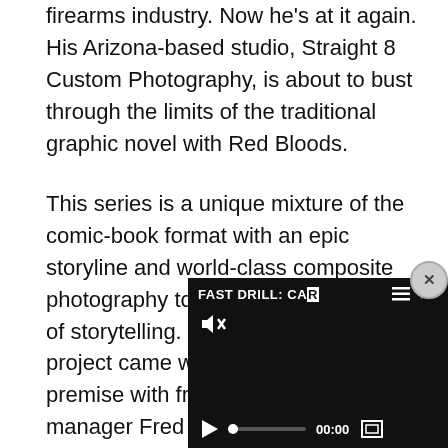firearms industry. Now he’s at it again. His Arizona-based studio, Straight 8 Custom Photography, is about to bust through the limits of the traditional graphic novel with Red Bloods.
This series is a unique mixture of the comic-book format with an epic storyline and world-class composite photography to create a new medium of storytelling. The genesis for the project came when Swarr shared the premise with friend and project manager Fred Mastison, who quickly hit the keyboard and turned the id... Then RECOIL’s editor ma... in front of the camera to p... story.
[Figure (screenshot): A video player overlay in the bottom-right corner with dark background. Shows title 'FAST DRILL: CAR' with menu and share icons. Mute icon visible. Play button, progress bar with dot at start, timestamp 00:00, and fullscreen button.]